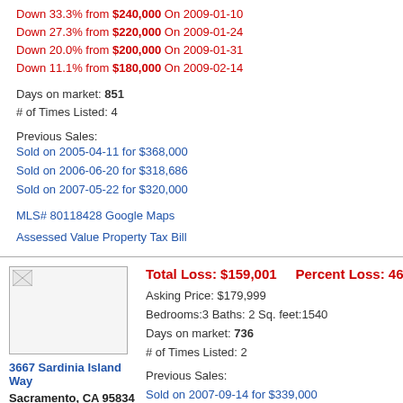Down 33.3% from $240,000 On 2009-01-10
Down 27.3% from $220,000 On 2009-01-24
Down 20.0% from $200,000 On 2009-01-31
Down 11.1% from $180,000 On 2009-02-14
Days on market: 851
# of Times Listed: 4
Previous Sales:
Sold on 2005-04-11 for $368,000
Sold on 2006-06-20 for $318,686
Sold on 2007-05-22 for $320,000
MLS# 80118428 Google Maps
Assessed Value Property Tax Bill
Total Loss: $159,001    Percent Loss: 46.9%
Asking Price: $179,999
Bedrooms:3 Baths: 2 Sq. feet:1540
Days on market: 736
# of Times Listed: 2
Previous Sales:
Sold on 2007-09-14 for $339,000
MLS# 90054497 Google Maps
3667 Sardinia Island Way
Sacramento, CA 95834
Total Loss: $158,319    Percent Loss: 63.3%